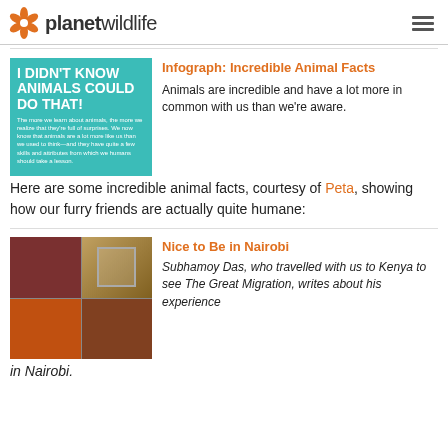planetwildlife
[Figure (infographic): Teal infographic thumbnail: 'I DIDN'T KNOW ANIMALS COULD DO THAT!' with small descriptive text below]
Infograph: Incredible Animal Facts
Animals are incredible and have a lot more in common with us than we're aware. Here are some incredible animal facts, courtesy of Peta, showing how our furry friends are actually quite humane:
[Figure (photo): Collage of four travel photos from Nairobi, Kenya]
Nice to Be in Nairobi
Subhamoy Das, who travelled with us to Kenya to see The Great Migration, writes about his experience in Nairobi.